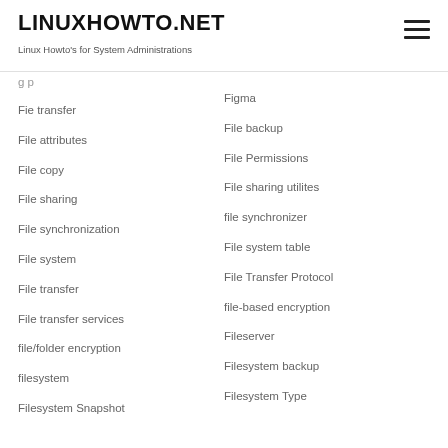LINUXHOWTO.NET
Linux Howto's for System Administrations
Fie transfer
File attributes
File copy
File sharing
File synchronization
File system
File transfer
File transfer services
file/folder encryption
filesystem
Filesystem Snapshot
Figma
File backup
File Permissions
File sharing utilites
file synchronizer
File system table
File Transfer Protocol
file-based encryption
Fileserver
Filesystem backup
Filesystem Type